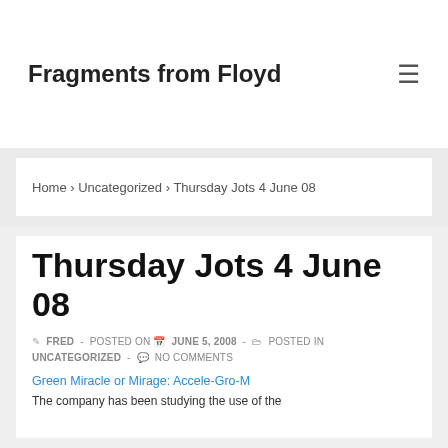Fragments from Floyd
Home › Uncategorized › Thursday Jots 4 June 08
Thursday Jots 4 June 08
FRED - POSTED ON JUNE 5, 2008 - POSTED IN UNCATEGORIZED - NO COMMENTS
Green Miracle or Mirage: Accele-Gro-M
The company has been studying the use of the